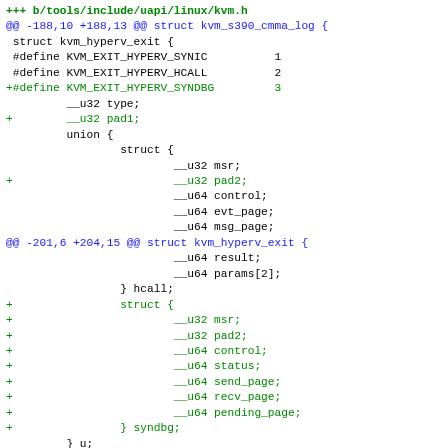[Figure (other): Git diff output showing changes to tools/include/uapi/linux/kvm.h, adding KVM_EXIT_HYPERV_SYNDBG define and syndbg struct fields]